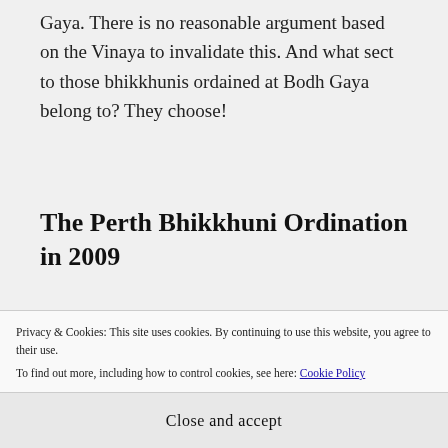Gaya. There is no reasonable argument based on the Vinaya to invalidate this. And what sect to those bhikkhunis ordained at Bodh Gaya belong to? They choose!
The Perth Bhikkhuni Ordination in 2009
Once there were Theravada bhikkhunis, it was relatively easy to arrange for the ordination of four women as bhikkhunis in Perth in October
Privacy & Cookies: This site uses cookies. By continuing to use this website, you agree to their use.
To find out more, including how to control cookies, see here: Cookie Policy
Close and accept